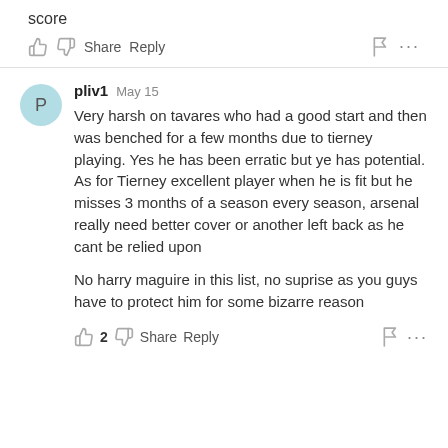score
pliv1  May 15
Very harsh on tavares who had a good start and then was benched for a few months due to tierney playing. Yes he has been erratic but ye has potential. As for Tierney excellent player when he is fit but he misses 3 months of a season every season, arsenal really need better cover or another left back as he cant be relied upon

No harry maguire in this list, no suprise as you guys have to protect him for some bizarre reason